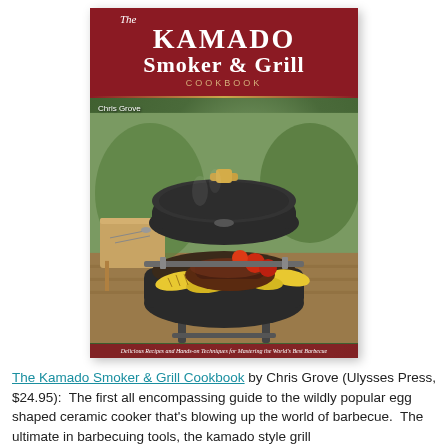[Figure (photo): Book cover of 'The Kamado Smoker & Grill Cookbook' by Chris Grove. Dark red header with white title text. Photo shows an open kamado-style ceramic egg grill with meat, corn, and tomatoes cooking inside, set on a wooden deck. Tagline reads: Delicious Recipes and Hands-on Techniques for Mastering the World's Best Barbecue.]
The Kamado Smoker & Grill Cookbook by Chris Grove (Ulysses Press, $24.95):  The first all encompassing guide to the wildly popular egg shaped ceramic cooker that's blowing up the world of barbecue.  The ultimate in barbecuing tools, the kamado style grill